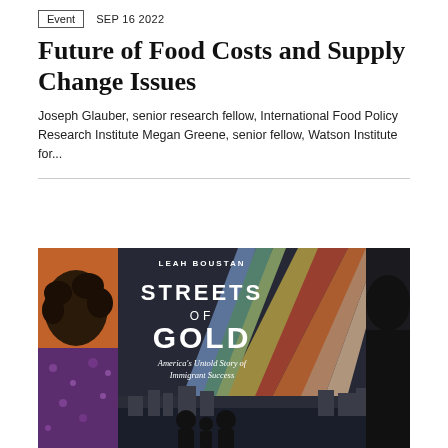Event   SEP 16 2022
Future of Food Costs and Supply Change Issues
Joseph Glauber, senior research fellow, International Food Policy Research Institute Megan Greene, senior fellow, Watson Institute for...
[Figure (photo): Book cover image of 'Streets of Gold: America's Untold Story of Immigrant Success' by Leah Boustan, shown alongside a person with curly hair on the left and a dark figure on the right. The book cover features colorful radiating stripes and a black-and-white image of immigrants viewed from behind.]